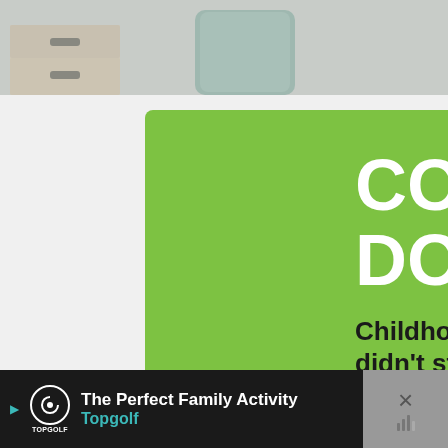[Figure (photo): Top portion of page showing a room interior with a gray upholstered chair and a wooden drawer unit]
[Figure (infographic): Green advertisement banner for 'Cookies for Kids' Cancer' featuring a smiling girl holding a jar of cash. Text reads: COOKIE DOUGH, Childhood cancer didn't stop for COVID-19. LETS GET BAKING! cookies for kids' cancer]
WHAT'S NEXT → How to Grill Artichokes
[Figure (photo): Thumbnail image for 'How to Grill Artichokes']
[Figure (infographic): Bottom advertisement bar: The Perfect Family Activity Topgolf, with play button, Topgolf logo, navigation arrow icon, and close X button]